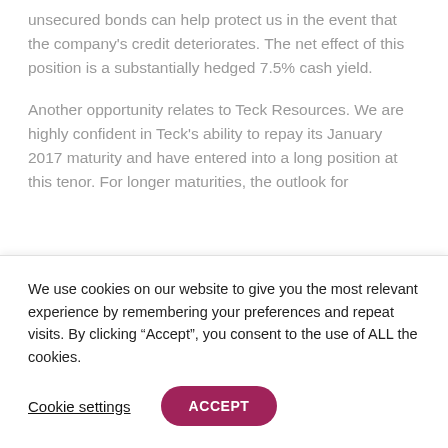unsecured bonds can help protect us in the event that the company's credit deteriorates. The net effect of this position is a substantially hedged 7.5% cash yield.
Another opportunity relates to Teck Resources. We are highly confident in Teck's ability to repay its January 2017 maturity and have entered into a long position at this tenor. For longer maturities, the outlook for
We use cookies on our website to give you the most relevant experience by remembering your preferences and repeat visits. By clicking “Accept”, you consent to the use of ALL the cookies.
Cookie settings
ACCEPT